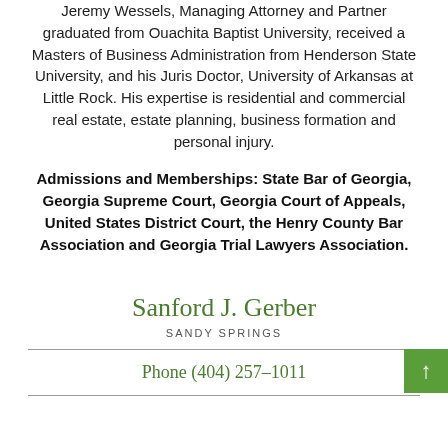Jeremy Wessels, Managing Attorney and Partner graduated from Ouachita Baptist University, received a Masters of Business Administration from Henderson State University, and his Juris Doctor, University of Arkansas at Little Rock. His expertise is residential and commercial real estate, estate planning, business formation and personal injury.
Admissions and Memberships: State Bar of Georgia, Georgia Supreme Court, Georgia Court of Appeals, United States District Court, the Henry County Bar Association and Georgia Trial Lawyers Association.
Sanford J. Gerber
SANDY SPRINGS
Phone (404) 257-1011